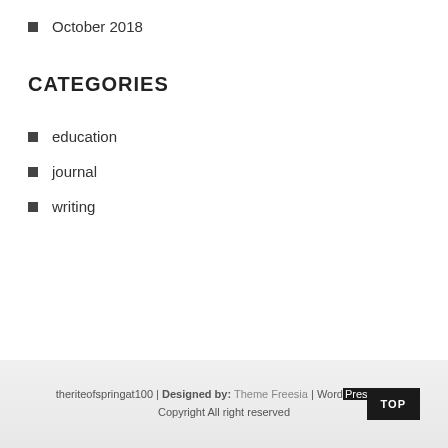October 2018
CATEGORIES
education
journal
writing
theriteofspringat100 | Designed by: Theme Freesia | WordPress | © Copyright All right reserved